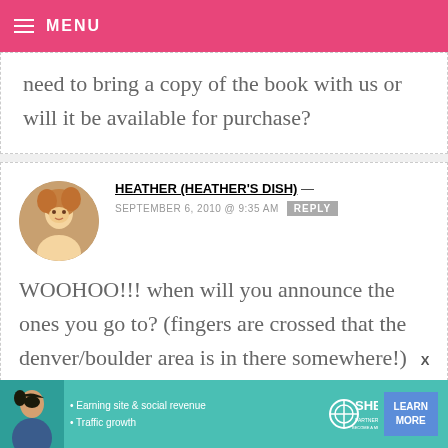MENU
need to bring a copy of the book with us or will it be available for purchase?
HEATHER (HEATHER'S DISH) — SEPTEMBER 6, 2010 @ 9:35 AM REPLY
WOOHOO!!! when will you announce the ones you go to? (fingers are crossed that the denver/boulder area is in there somewhere!)
[Figure (other): SHE Partner Network advertisement banner with woman photo, bullet points about earning site & social revenue and traffic growth, SHE logo, and Learn More button]